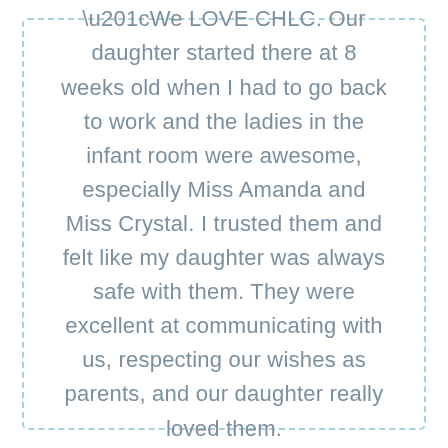“We LOVE CHLC. Our daughter started there at 8 weeks old when I had to go back to work and the ladies in the infant room were awesome, especially Miss Amanda and Miss Crystal. I trusted them and felt like my daughter was always safe with them. They were excellent at communicating with us, respecting our wishes as parents, and our daughter really loved them.